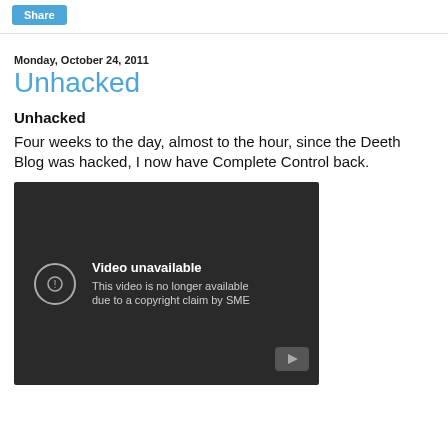Share
Monday, October 24, 2011
Unhacked
Unhacked
Four weeks to the day, almost to the hour, since the Deeth Blog was hacked, I now have Complete Control back.
[Figure (screenshot): Embedded video player showing 'Video unavailable — This video is no longer available due to a copyright claim by SME' with a YouTube logo in the bottom right corner.]